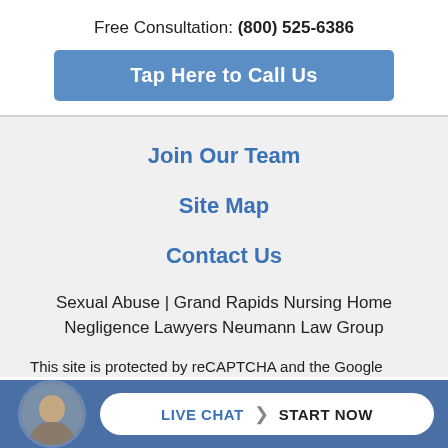Free Consultation: (800) 525-6386
Tap Here to Call Us
Join Our Team
Site Map
Contact Us
Sexual Abuse | Grand Rapids Nursing Home Negligence Lawyers Neumann Law Group
This site is protected by reCAPTCHA and the Google
LIVE CHAT  START NOW